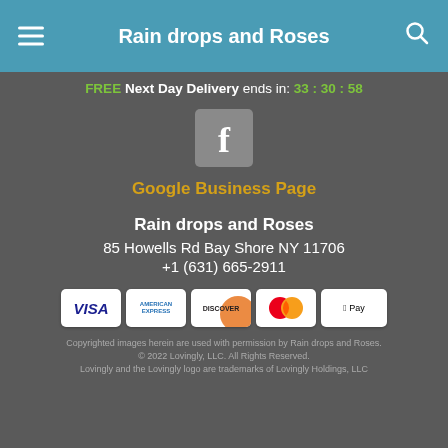Rain drops and Roses
FREE Next Day Delivery ends in: 33 : 30 : 58
[Figure (logo): Facebook icon button, grey square with white 'f' logo]
Google Business Page
Rain drops and Roses
85 Howells Rd Bay Shore NY 11706
+1 (631) 665-2911
[Figure (other): Payment method icons: VISA, American Express, Discover, Mastercard, Apple Pay]
Copyrighted images herein are used with permission by Rain drops and Roses.
© 2022 Lovingly, LLC. All Rights Reserved.
Lovingly and the Lovingly logo are trademarks of Lovingly Holdings, LLC